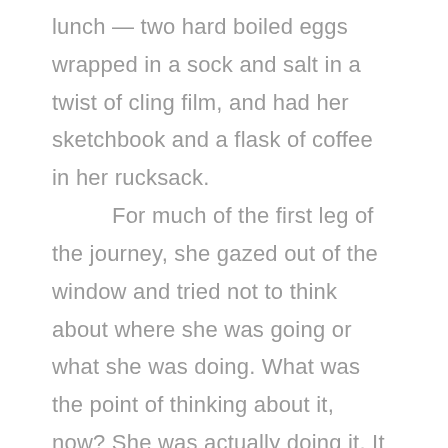lunch — two hard boiled eggs wrapped in a sock and salt in a twist of cling film, and had her sketchbook and a flask of coffee in her rucksack. For much of the first leg of the journey, she gazed out of the window and tried not to think about where she was going or what she was doing. What was the point of thinking about it, now? She was actually doing it. It had taken her over thirty years, but she was returning to the red-roofed house on the coast. Outside, the sky was a clear,